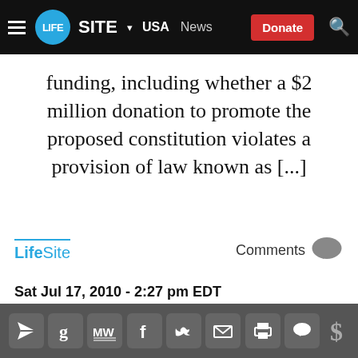LIFE SITE · USA · News · Donate
funding, including whether a $2 million donation to promote the proposed constitution violates a provision of law known as [...]
LifeSite
Comments
Sat Jul 17, 2010 - 2:27 pm EDT
Wednesday May 26, 2010
Social share icons bar